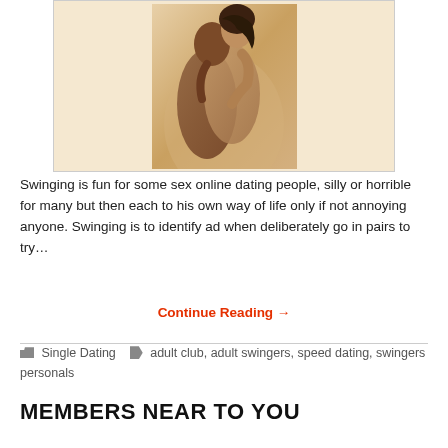[Figure (photo): A couple embracing intimately, photographed from the side against a light background]
Swinging is fun for some sex online dating people, silly or horrible for many but then each to his own way of life only if not annoying anyone. Swinging is to identify ad when deliberately go in pairs to try…
Continue Reading →
Single Dating   adult club, adult swingers, speed dating, swingers personals
MEMBERS NEAR TO YOU